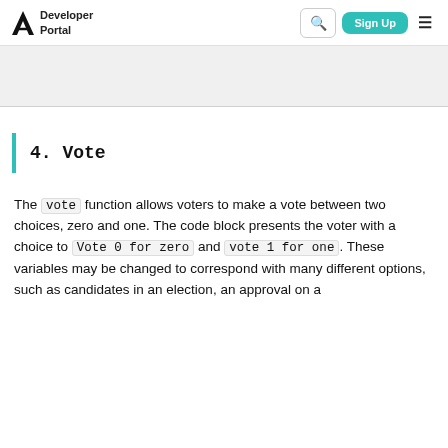Developer Portal
4. Vote
The vote function allows voters to make a vote between two choices, zero and one. The code block presents the voter with a choice to Vote 0 for zero and vote 1 for one. These variables may be changed to correspond with many different options, such as candidates in an election, an approval on a